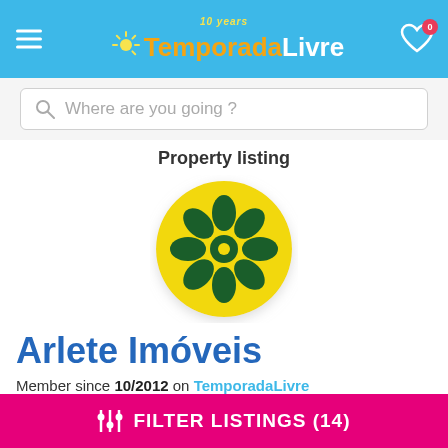TemporadaLivre — 10 years
Where are you going ?
Property listing
[Figure (logo): TemporadaLivre circular logo: yellow circle with dark green flower/wheel pattern (8 teardrop petals arranged radially around a central circle)]
Arlete Imóveis
Member since 10/2012 on TemporadaLivre
★★★★☆ 3 avaliações
FILTER LISTINGS (14)